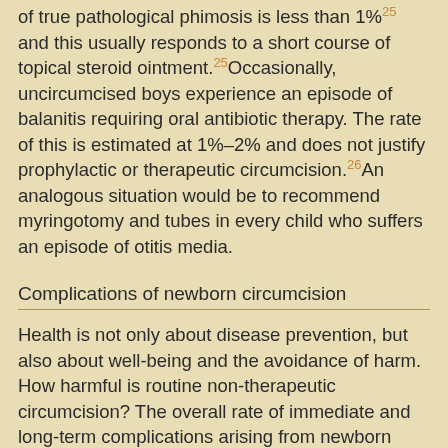of true pathological phimosis is less than 1% and this usually responds to a short course of topical steroid ointment.25 Occasionally, uncircumcised boys experience an episode of balanitis requiring oral antibiotic therapy. The rate of this is estimated at 1%–2% and does not justify prophylactic or therapeutic circumcision.26 An analogous situation would be to recommend myringotomy and tubes in every child who suffers an episode of otitis media.
Complications of newborn circumcision
Health is not only about disease prevention, but also about well-being and the avoidance of harm. How harmful is routine non-therapeutic circumcision? The overall rate of immediate and long-term complications arising from newborn circumcision is a matter of debate and in truth unknown. The estimated rate of complication worldwide has been reported as lying between the extremes of 0.1% and 35%.27 Minor